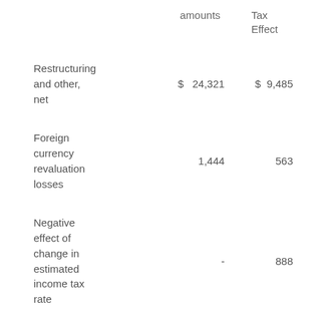|  | amounts | Tax Effect |
| --- | --- | --- |
| Restructuring and other, net | $ 24,321 | $ 9,485 |
| Foreign currency revaluation losses | 1,444 | 563 |
| Negative effect of change in estimated income tax rate | - | 888 |